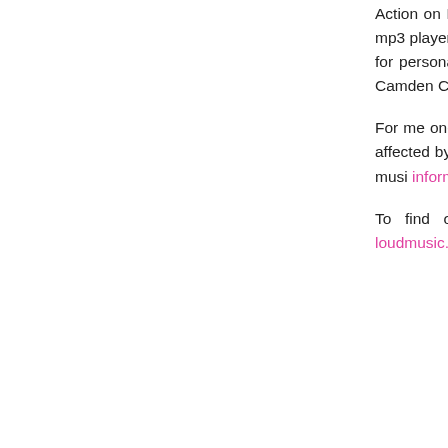Action on Hearing Loss Noise Squads have up and down the country, with the charity volume of people's mp3 players and wa listening too loud. The charity's campaigner MPs and telling people about the new EU for personal music players, which comes int all on the back of the on-going Loud Music c of last year's Camden Crawl may be familia the long term risks of exposure to loud mus hearing.

For me one of the key points about tinnitus So if music is important to you, I'd urge you t you are already affected by tinnitus, don' talking to people about it you will find that living with tinnitus and still loving their musi information available to help you do the sam

To find out more about Tinnitus actiononhearingloss.org.uk/TAW and for m campaign go to loudmusic.org.uk